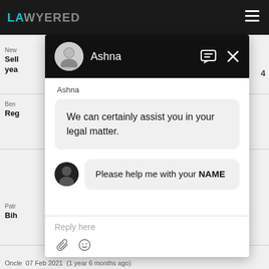LAWYERED
[Figure (screenshot): Chat widget modal overlay showing a conversation with Ashna. Header with avatar and name, agent message 'We can certainly assist you in your legal matter.', user message 'Please help me with your NAME', reply input field and attachment/emoji icons.]
Ashna
We can certainly assist you in your legal matter.
Please help me with your NAME
Reply here
Oncle  07 Feb 2021  (1 year 6 months ago)